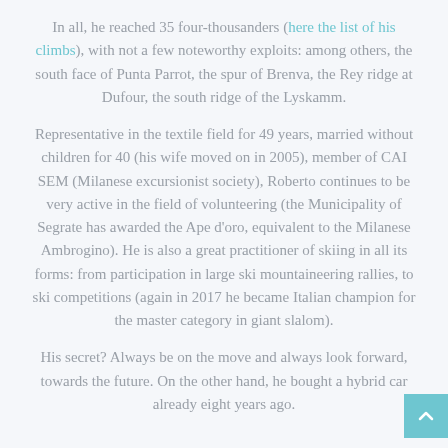In all, he reached 35 four-thousanders (here the list of his climbs), with not a few noteworthy exploits: among others, the south face of Punta Parrot, the spur of Brenva, the Rey ridge at Dufour, the south ridge of the Lyskamm.
Representative in the textile field for 49 years, married without children for 40 (his wife moved on in 2005), member of CAI SEM (Milanese excursionist society), Roberto continues to be very active in the field of volunteering (the Municipality of Segrate has awarded the Ape d'oro, equivalent to the Milanese Ambrogino). He is also a great practitioner of skiing in all its forms: from participation in large ski mountaineering rallies, to ski competitions (again in 2017 he became Italian champion for the master category in giant slalom).
His secret? Always be on the move and always look forward, towards the future. On the other hand, he bought a hybrid car already eight years ago.